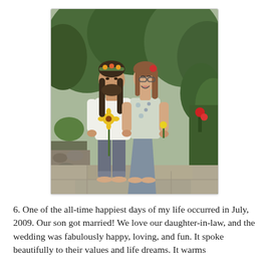[Figure (photo): A couple standing barefoot on stone pavers in a lush garden setting. The man on the left has long hair and a beard, wearing a white shirt, gray capri pants, and a floral crown; he holds a sunflower. The woman on the right wears a floral top and gray skirt, has a flower in her hair, and is laughing joyfully while holding a small yellow flower. Trees and garden plants are visible in the background.]
6. One of the all-time happiest days of my life occurred in July, 2009. Our son got married! We love our daughter-in-law, and the wedding was fabulously happy, loving, and fun. It spoke beautifully to their values and life dreams. It warms